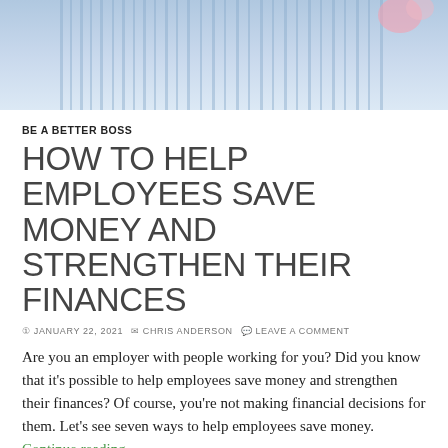[Figure (photo): Top portion of a photo showing a person in a light blue striped dress or top, cropped at the shoulders/chest area]
BE A BETTER BOSS
HOW TO HELP EMPLOYEES SAVE MONEY AND STRENGTHEN THEIR FINANCES
JANUARY 22, 2021  CHRIS ANDERSON  LEAVE A COMMENT
Are you an employer with people working for you? Did you know that it's possible to help employees save money and strengthen their finances? Of course, you're not making financial decisions for them. Let's see seven ways to help employees save money. Continue reading →